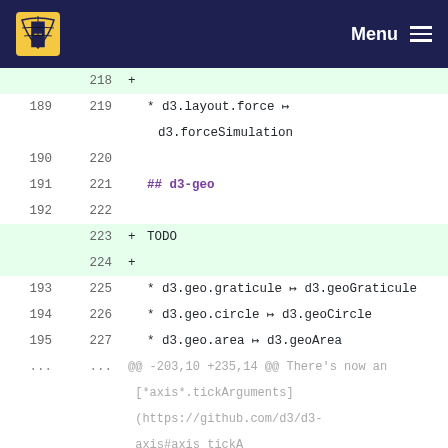Menu
| old | new | content |
| --- | --- | --- |
|  | 218 | +  |
| 189 | 219 | * d3.layout.force ↦ d3.forceSimulation |
| 190 | 220 |  |
| 191 | 221 | ## d3-geo |
| 192 | 222 |  |
|  | 223 | + TODO |
|  | 224 | +  |
| 193 | 225 | * d3.geo.graticule ↦ d3.geoGraticule |
| 194 | 226 | * d3.geo.circle ↦ d3.geoCircle |
| 195 | 227 | * d3.geo.area ↦ d3.geoArea |
| ... | ... | @@ -203,10 +235,14 @@ There's now an [*axis*.tickArguments](https://github.com/d3/d3-axis#axis_tickA |
| 203 | 235 |  |
| 204 | 236 | ## d3-geo-projection |
| 205 | 237 |  |
|  | 238 | + TODO |
|  | 239 | +  |